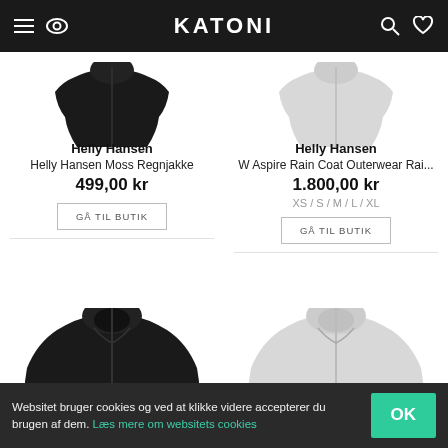KATONI
[Figure (illustration): Black hooded rain jacket, partially visible at top]
Helly Hansen
Helly Hansen Moss Regnjakke
499,00 kr
[Figure (illustration): Light grey/white hooded rain coat, partially visible at top]
Helly Hansen
W Aspire Rain Coat Outerwear Rai...
1.800,00 kr
XS / S / M / L / XL
[Figure (illustration): Black hooded rain jacket, lower portion showing full jacket]
[Figure (illustration): White/light grey hooded rain jacket, lower portion]
Websitet bruger cookies og ved at klikke videre accepterer du brugen af dem. Læs mere om websitets cookies